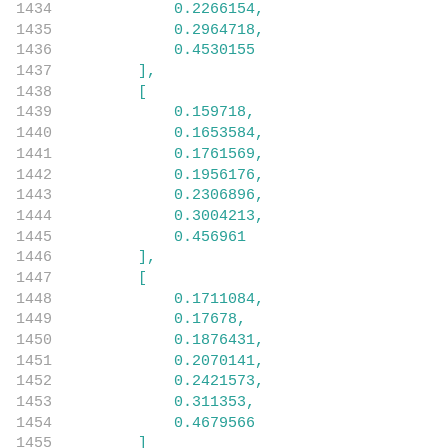1434    0.2266154,
1435    0.2964718,
1436    0.4530155
1437  ],
1438  [
1439    0.159718,
1440    0.1653584,
1441    0.1761569,
1442    0.1956176,
1443    0.2306896,
1444    0.3004213,
1445    0.456961
1446  ],
1447  [
1448    0.1711084,
1449    0.17678,
1450    0.1876431,
1451    0.2070141,
1452    0.2421573,
1453    0.311353,
1454    0.4679566
1455  ]